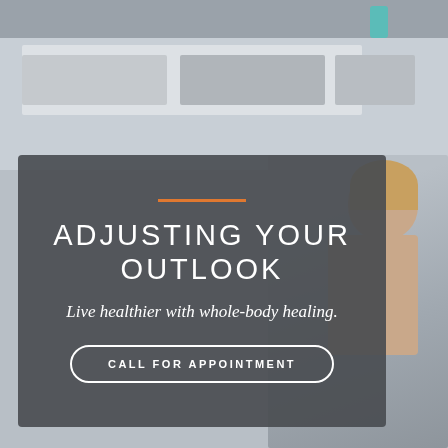[Figure (photo): Background photo of a chiropractic or wellness office with shelving/equipment visible in the upper portion, and a person (woman with blonde hair) visible on the right side of the image]
ADJUSTING YOUR OUTLOOK
Live healthier with whole-body healing.
CALL FOR APPOINTMENT